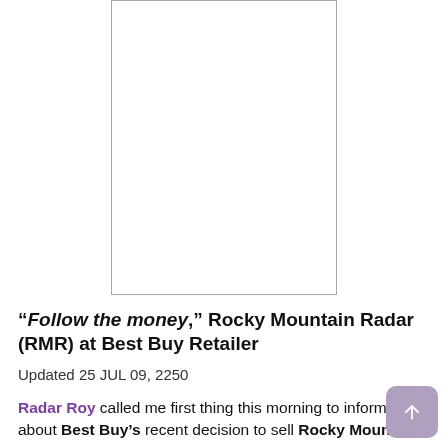[Figure (other): Blank white rectangle with gray border — placeholder image area]
“Follow the money,” Rocky Mountain Radar (RMR) at Best Buy Retailer
Updated 25 JUL 09, 2250
Radar Roy called me first thing this morning to inform me about Best Buy’s recent decision to sell Rocky Mountain